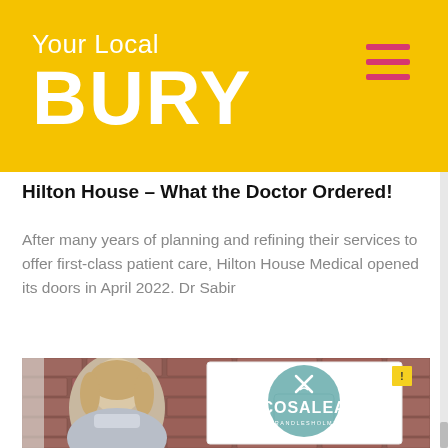Your Local BURY
Hilton House – What the Doctor Ordered!
After many years of planning and refining their services to offer first-class patient care, Hilton House Medical opened its doors in April 2022. Dr Sabir
[Figure (photo): Woman smiling in front of a Cosalea Brandlesholme restaurant sign on a brick wall exterior]